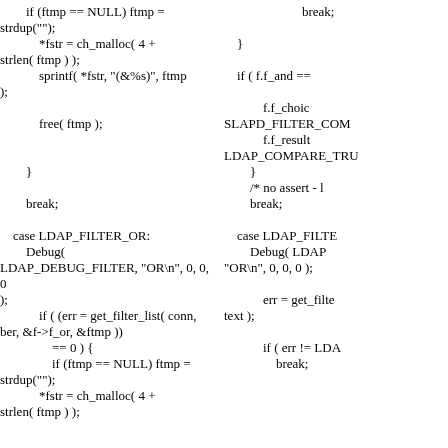if (ftmp == NULL) ftmp =
strdup("");
            *fstr = ch_malloc( 4 +
strlen( ftmp ) );
            sprintf( *fstr, "(&%s)", ftmp
);

            free( ftmp );


        }

        break;

    case LDAP_FILTER_OR:
        Debug(
LDAP_DEBUG_FILTER, "OR\n", 0, 0, 0
);
            if ( (err = get_filter_list( conn,
ber, &f->f_or, &ftmp ))
                == 0 ) {
                if (ftmp == NULL) ftmp =
strdup("");
            *fstr = ch_malloc( 4 +
strlen( ftmp ) );
break;

    }

    if ( f.f_and ==

            f.f_choic
SLAPD_FILTER_COM
            f.f_result
LDAP_COMPARE_TRU
        }
        /* no assert - b
        break;

    case LDAP_FILTE
        Debug( LDAP
"OR\n", 0, 0, 0 );

            err = get_filte
text );

            if ( err != LDA
                break;